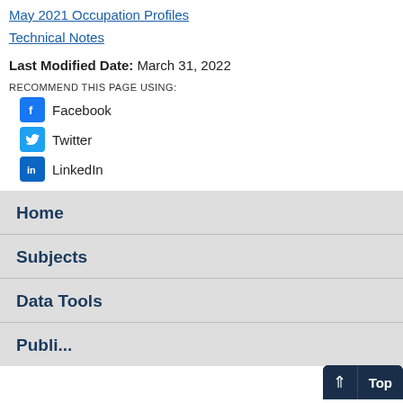May 2021 Occupation Profiles
Technical Notes
Last Modified Date: March 31, 2022
RECOMMEND THIS PAGE USING:
Facebook
Twitter
LinkedIn
Home
Subjects
Data Tools
Publications